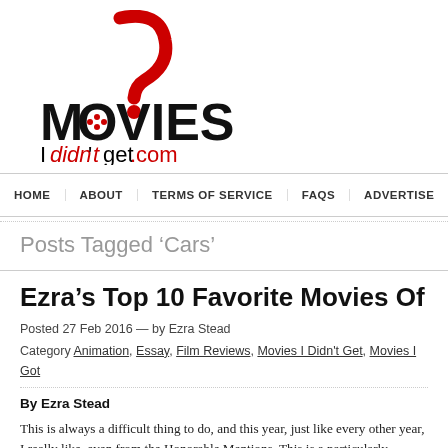[Figure (logo): MoviesIDidn'tGet.com logo with red question mark above stylized MOVIES text and 'Ididntget.com' in red/black]
HOME | ABOUT | TERMS OF SERVICE | FAQS | ADVERTISE | RE-PUBLIS...
Posts Tagged 'Cars'
Ezra's Top 10 Favorite Movies Of 20...
Posted 27 Feb 2016 — by Ezra Stead
Category Animation, Essay, Film Reviews, Movies I Didn't Get, Movies I Got
By Ezra Stead
This is always a difficult thing to do, and this year, just like every other year, I really like, even from the Honorable Mentions. This is a particularly interesting like all the Oscar nominees that I've seen, which is relatively rare for me. Any from 2015 I managed to see in time for this list, these are my (completely s...